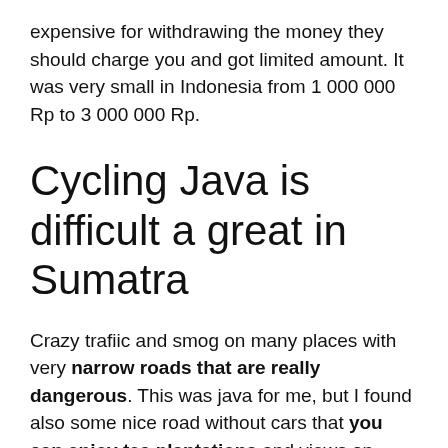expensive for withdrawing the money they should charge you and got limited amount. It was very small in Indonesia from 1 000 000 Rp to 3 000 000 Rp.
Cycling Java is difficult a great in Sumatra
Crazy trafiic and smog on many places with very narrow roads that are really dangerous. This was java for me, but I found also some nice road without cars that you can enjoy tea plantations and views on great volcanos around. In Indonesia is better to go